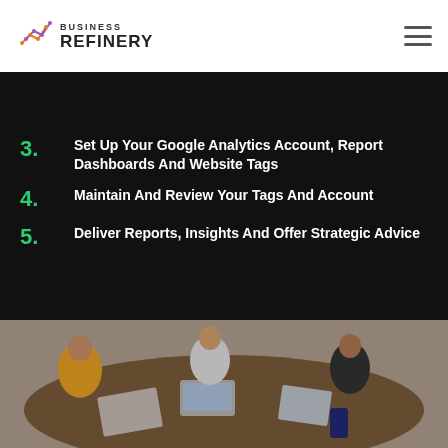Business Refinery
3. Set Up Your Google Analytics Account, Report Dashboards And Website Tags
4. Maintain And Review Your Tags And Account
5. Deliver Reports, Insights And Offer Strategic Advice
[Figure (photo): Aerial view of business people working around a table with laptops and documents]